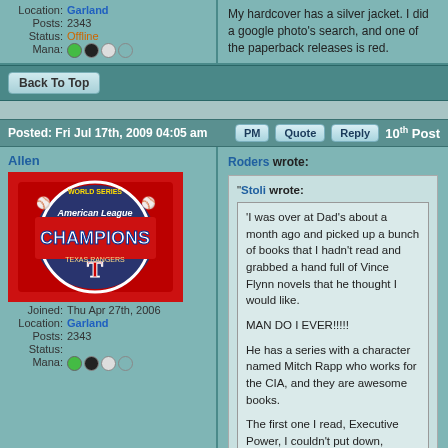Location: Garland
Posts: 2343
Status: Offline
Mana: [icons]
My hardcover has a silver jacket. I did a google photo's search, and one of the paperback releases is red.
Back To Top
Posted: Fri Jul 17th, 2009 04:05 am   PM  Quote  Reply  10th Post
Allen
[Figure (photo): Texas Rangers American League Champions logo on red background]
Joined: Thu Apr 27th, 2006
Location: Garland
Posts: 2343
Status:
Mana: [icons]
Roders wrote:
"Stoli wrote:
'I was over at Dad's about a month ago and picked up a bunch of books that I hadn't read and grabbed a hand full of Vince Flynn novels that he thought I would like.

MAN DO I EVER!!!!!

He has a series with a character named Mitch Rapp who works for the CIA, and they are awesome books.

The first one I read, Executive Power, I couldn't put down, almost 500 pages and I read it in a day and a half.

I started reading Memorial Day last week and it is just as good, blew through 100 pages of it last night.

If you like Luddlum, Clancey